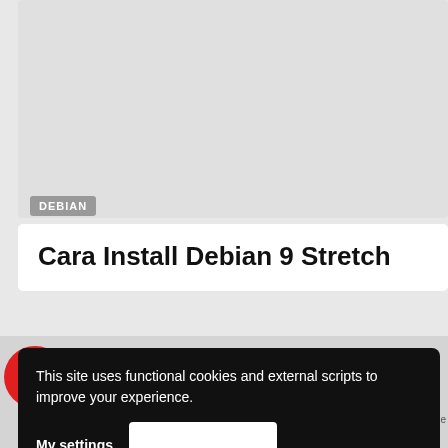[Figure (screenshot): Gray placeholder image area at top of page]
DEBIAN
Cara Install Debian 9 Stretch
[Figure (screenshot): Gray placeholder image area with red circle icon containing upward arrow]
This site uses functional cookies and external scripts to improve your experience.
My settings
[Figure (other): White accept/consent button]